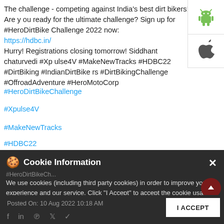The challenge - competing against India's best dirt bikers! Are you ready for the ultimate challenge? Sign up for #HeroDirtBike Challenge 2022 now:
https://hdbc.in/
Hurry! Registrations closing tomorrow! Siddhant chaturvedi #Xpulse4V #MakeNewTracks #HDBC22 #DirtBiking #IndianDirtBikers #DirtBikingChallenge #OffroadAdventure #HeroMotoCorp
#HeroDirtBikeChallenge
#Xpulse4V
#MakeNewTracks
#HDBC22
[Figure (screenshot): Android and Apple app store icons in a white panel on the right side]
Cookie Information
We use cookies (including third party cookies) in order to improve your experience and our service. Click "I Accept" to accept the cookie usage. You can refer to our Cookie Policy for cookie settings. Please refer to our Privacy Policy, Terms of Use, Disclaimer, Rules & Regulations and Data Collection Contract or more information on personal data usage.
Posted On: 10 Aug 2022 10:18 AM